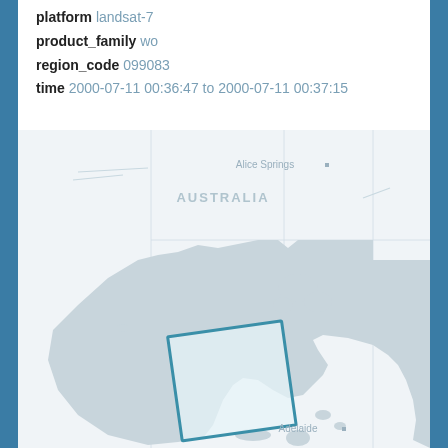platform landsat-7
product_family wo
region_code 099083
time 2000-07-11 00:36:47 to 2000-07-11 00:37:15
[Figure (map): Map of Australia showing a highlighted rectangular region near Adelaide (South Australia coast). The map shows Australian continent in light grey with grid lines, city markers for Alice Springs and Adelaide, and a teal/blue outlined rectangle indicating the selected region near the Adelaide coast.]